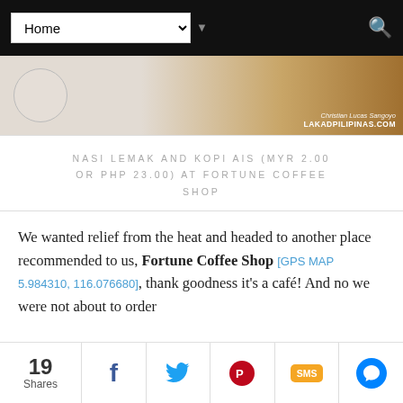Home [navigation dropdown]
[Figure (photo): Banner image showing a glass and warm-toned background with text 'Christian Lucas Sangoyo LAKADPILIPINAS.COM']
NASI LEMAK AND KOPI AIS (MYR 2.00 OR PHP 23.00) AT FORTUNE COFFEE SHOP
We wanted relief from the heat and headed to another place recommended to us, Fortune Coffee Shop [GPS MAP 5.984310, 116.076680], thank goodness it's a café! And no we were not about to order
19 Shares | Facebook | Twitter | Pinterest | SMS | Messenger